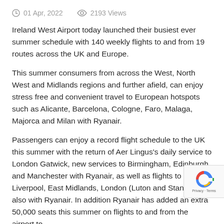01 Apr, 2022   2193 Views
Ireland West Airport today launched their busiest ever summer schedule with 140 weekly flights to and from 19 routes across the UK and Europe.
This summer consumers from across the West, North West and Midlands regions and further afield, can enjoy stress free and convenient travel to European hotspots such as Alicante, Barcelona, Cologne, Faro, Malaga, Majorca and Milan with Ryanair.
Passengers can enjoy a record flight schedule to the UK this summer with the return of Aer Lingus's daily service to London Gatwick, new services to Birmingham, Edinburgh and Manchester with Ryanair, as well as flights to Bristol, Liverpool, East Midlands, London (Luton and Stansted) also with Ryanair. In addition Ryanair has added an extra 50,000 seats this summer on flights to and from the airport to destinations like London, Liverpool, Barcelona and Alic…
This summer the airport are delighted to welcome back our